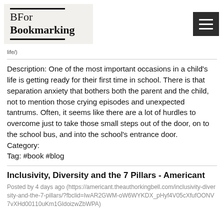BFor Bookmarking
life/)
Description: One of the most important occasions in a child's life is getting ready for their first time in school. There is that separation anxiety that bothers both the parent and the child, not to mention those crying episodes and unexpected tantrums. Often, it seems like there are a lot of hurdles to overcome just to take those small steps out of the door, on to the school bus, and into the school's entrance door.
Category:
Tag: #book #blog
Inclusivity, Diversity and the 7 Pillars - Americant
Posted by 4 days ago (https://americant.theauthorkingbell.com/inclusivity-diversity-and-the-7-pillars/?fbclid=IwAR2GWM-oW6WYKDX_pHyf4V05cXfufOONV7vXHd00110uKm1GldoizwZbWPA)